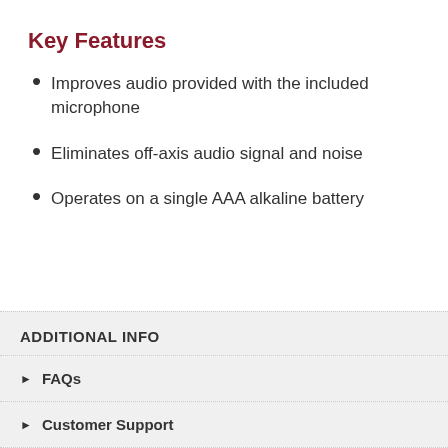Key Features
Improves audio provided with the included microphone
Eliminates off-axis audio signal and noise
Operates on a single AAA alkaline battery
ADDITIONAL INFO
FAQs
Customer Support